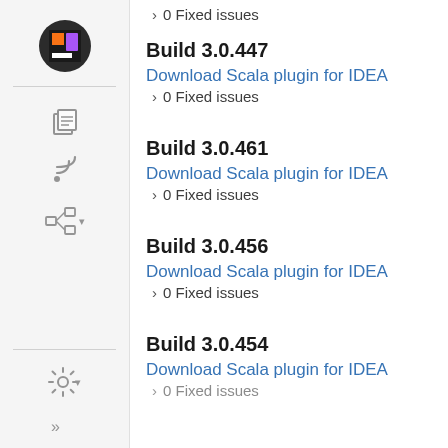[Figure (screenshot): JetBrains sidebar navigation with logo and icons]
0 Fixed issues
Build 3.0.447
Download Scala plugin for IDEA
0 Fixed issues
Build 3.0.461
Download Scala plugin for IDEA
0 Fixed issues
Build 3.0.456
Download Scala plugin for IDEA
0 Fixed issues
Build 3.0.454
Download Scala plugin for IDEA
0 Fixed issues